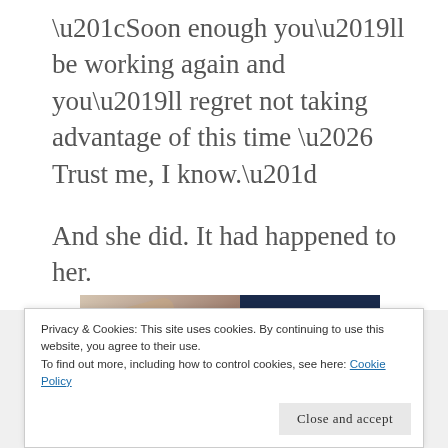“Soon enough you’ll be working again and you’ll regret not taking advantage of this time … Trust me, I know.”
And she did. It had happened to her.
[Figure (photo): Advertisement banner showing a hand holding a pen on the left side and dark navy blue panel with text 'BUSINESS.' in bold italic white letters on the right side.]
Privacy & Cookies: This site uses cookies. By continuing to use this website, you agree to their use.
To find out more, including how to control cookies, see here: Cookie Policy
Close and accept